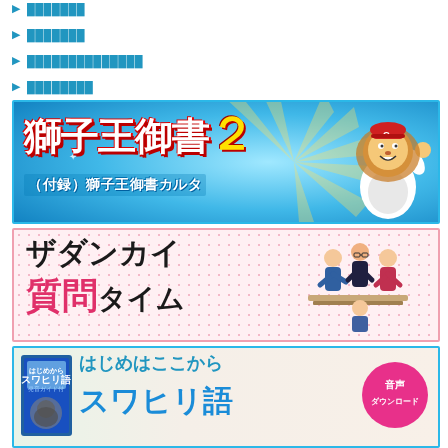▶ ███████
▶ ███████
▶ ██████████████
▶ ████████
[Figure (illustration): Banner for 獅子王御書2 (付録) 獅子王御書カルタ with lion mascot character on blue background]
[Figure (illustration): Banner for ザダンカイ 質問タイム with illustrated group of people on pink polka-dot background]
[Figure (illustration): Banner for はじめはここから スワヒリ語 with book cover and 音声ダウンロード circle badge]